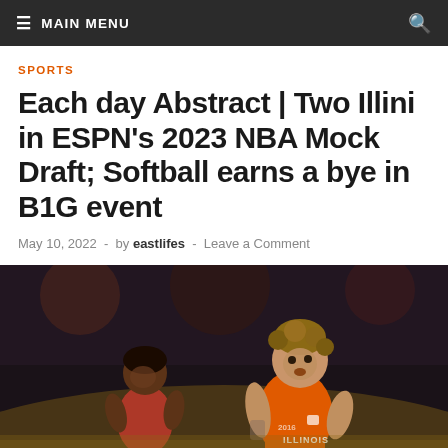≡ MAIN MENU
SPORTS
Each day Abstract | Two Illini in ESPN's 2023 NBA Mock Draft; Softball earns a bye in B1G event
May 10, 2022  -  by eastlifes  -  Leave a Comment
[Figure (photo): Two basketball players, one in an orange Illinois jersey, during a game under arena lights]